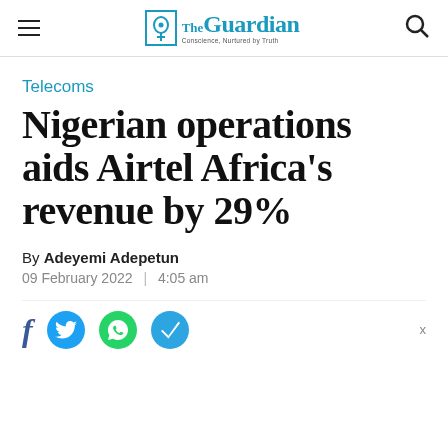The Guardian — Conscience, Nurtured by Truth
Telecoms
Nigerian operations aids Airtel Africa's revenue by 29%
By Adeyemi Adepetun
09 February 2022  |  4:05 am